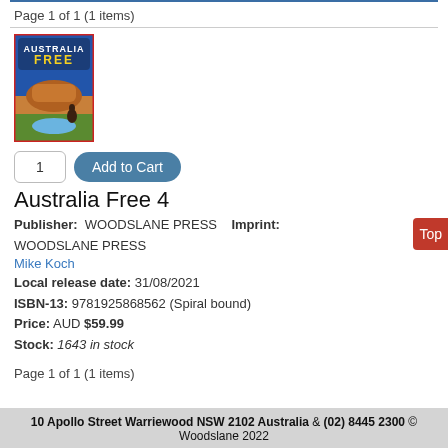Page 1 of 1 (1 items)
[Figure (illustration): Book cover image for 'Australia Free 4' showing colorful Australian travel imagery with text 'AUSTRALIA FREE' at top]
1  Add to Cart
Australia Free 4
Publisher:  WOODSLANE PRESS  Imprint: WOODSLANE PRESS
Mike Koch
Local release date: 31/08/2021
ISBN-13: 9781925868562 (Spiral bound)
Price: AUD $59.99
Stock: 1643 in stock
Page 1 of 1 (1 items)
10 Apollo Street Warriewood NSW 2102 Australia & (02) 8445 2300 © Woodslane 2022